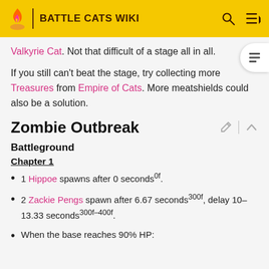BATTLE CATS WIKI
Valkyrie Cat. Not that difficult of a stage all in all.
If you still can't beat the stage, try collecting more Treasures from Empire of Cats. More meatshields could also be a solution.
Zombie Outbreak
Battleground
Chapter 1
1 Hippoe spawns after 0 seconds^0f.
2 Zackie Pengs spawn after 6.67 seconds^300f, delay 10-13.33 seconds^300f-400f.
When the base reaches 90% HP: